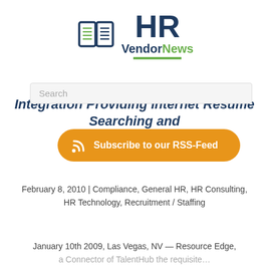[Figure (logo): HR VendorNews logo with open book icon and green underline]
Search
Integration Providing Internet Resume Search ing and Business Solution.
[Figure (infographic): Subscribe to our RSS-Feed orange button with RSS icon]
February 8, 2010 | Compliance, General HR, HR Consulting, HR Technology, Recruitment / Staffing
January 10th 2009, Las Vegas, NV — Resource Edge,